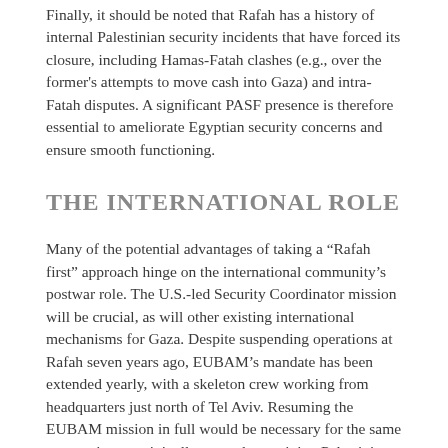Finally, it should be noted that Rafah has a history of internal Palestinian security incidents that have forced its closure, including Hamas-Fatah clashes (e.g., over the former's attempts to move cash into Gaza) and intra-Fatah disputes. A significant PASF presence is therefore essential to ameliorate Egyptian security concerns and ensure smooth functioning.
THE INTERNATIONAL ROLE
Many of the potential advantages of taking a “Rafah first” approach hinge on the international community’s postwar role. The U.S.-led Security Coordinator mission will be crucial, as will other existing international mechanisms for Gaza. Despite suspending operations at Rafah seven years ago, EUBAM’s mandate has been extended yearly, with a skeleton crew working from headquarters just north of Tel Aviv. Resuming the EUBAM mission in full would be necessary for the same reasons it was originally created — training Palestinian border/customs officers and building confidence between Israelis and Palestinians.
An expanded monitoring and security program would also be needed for construction materials and other dual-use goods